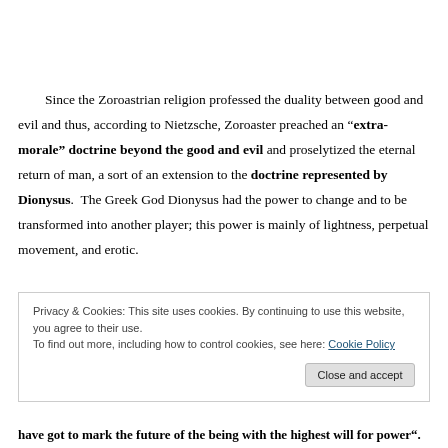Since the Zoroastrian religion professed the duality between good and evil and thus, according to Nietzsche, Zoroaster preached an “extra-morale” doctrine beyond the good and evil and proselytized the eternal return of man, a sort of an extension to the doctrine represented by Dionysus.  The Greek God Dionysus had the power to change and to be transformed into another player; this power is mainly of lightness, perpetual movement, and erotic.
Privacy & Cookies: This site uses cookies. By continuing to use this website, you agree to their use.
To find out more, including how to control cookies, see here: Cookie Policy
Close and accept
have got to mark the future of the being with the highest will for power“.